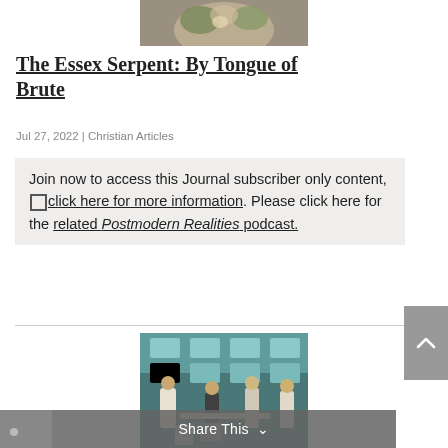[Figure (photo): Partial top image showing what appears to be a creature or animal, cropped at top of page]
The Essex Serpent: By Tongue of Brute
Jul 27, 2022 | Christian Articles
Join now to access this Journal subscriber only content, click here for more information. Please click here for the related Postmodern Realities podcast.
[Figure (photo): Scene from what appears to be a television show or film showing several people in an office or indoor setting with a teal/blue ceiling]
Share This